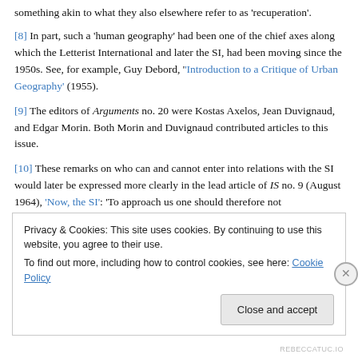something akin to what they also elsewhere refer to as 'recuperation'.
[8] In part, such a 'human geography' had been one of the chief axes along which the Letterist International and later the SI, had been moving since the 1950s. See, for example, Guy Debord, 'Introduction to a Critique of Urban Geography' (1955).
[9] The editors of Arguments no. 20 were Kostas Axelos, Jean Duvignaud, and Edgar Morin. Both Morin and Duvignaud contributed articles to this issue.
[10] These remarks on who can and cannot enter into relations with the SI would later be expressed more clearly in the lead article of IS no. 9 (August 1964), 'Now, the SI': 'To approach us one should therefore not
Privacy & Cookies: This site uses cookies. By continuing to use this website, you agree to their use.
To find out more, including how to control cookies, see here: Cookie Policy
Close and accept